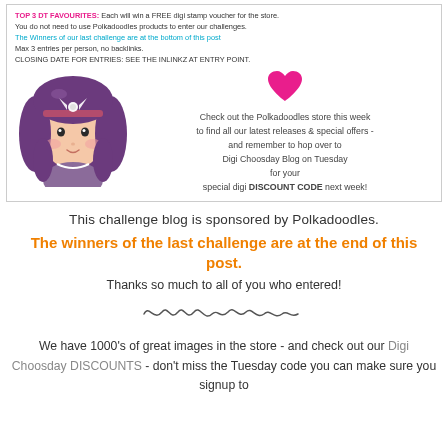[Figure (infographic): Blog challenge banner with a cartoon doll character (purple hair, bow), a pink heart, and promotional text about Polkadoodles store and Digi Choosday Blog discount code. Contains text about TOP 3 DT FAVOURITES, winners announcement, entry rules, and store promotion.]
This challenge blog is sponsored by Polkadoodles.
The winners of the last challenge are at the end of this post.
Thanks so much to all of you who entered!
[Figure (illustration): Handwritten cursive signature/decorative text]
We have 1000's of great images in the store - and check out our Digi Choosday DISCOUNTS - don't miss the Tuesday code you can make sure you signup to